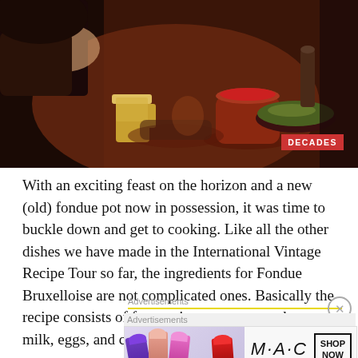[Figure (photo): People dining at a table with fondue pot, salad bowl, beer mugs, and pepper mills. A red 'DECADES' badge appears in the lower right corner of the image.]
With an exciting feast on the horizon and a new (old) fondue pot now in possession, it was time to buckle down and get to cooking. Like all the other dishes we have made in the International Vintage Recipe Tour so far, the ingredients for Fondue Bruxelloise are not complicated ones. Basically the recipe consists of four main components... butter, milk, eggs, and cheese.
Advertisements
[Figure (illustration): MAC cosmetics advertisement banner showing colorful lipsticks on the left side, the MAC logo in italic script in the center, and a 'SHOP NOW' box on the right.]
Advertisements